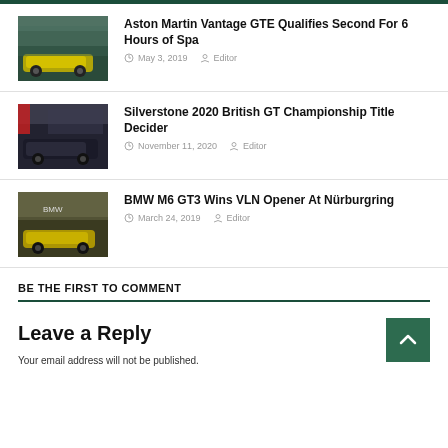Aston Martin Vantage GTE Qualifies Second For 6 Hours of Spa — May 3, 2019 — Editor
Silverstone 2020 British GT Championship Title Decider — November 11, 2020 — Editor
BMW M6 GT3 Wins VLN Opener At Nürburgring — March 24, 2019 — Editor
BE THE FIRST TO COMMENT
Leave a Reply
Your email address will not be published.